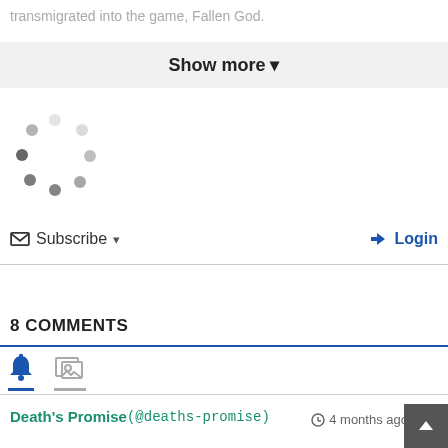transmigrated into the game, Fallen God.
Show more ▾
[Figure (other): Loading spinner animation dots in a circular pattern]
✉ Subscribe ▾
➡ Login
8 COMMENTS
[Figure (other): Bell icon (active, blue) and image gallery icon tabs with blue underline on bell tab and gray underline on image tab]
Death's Promise (@deaths-promise)  🕐 4 months ago